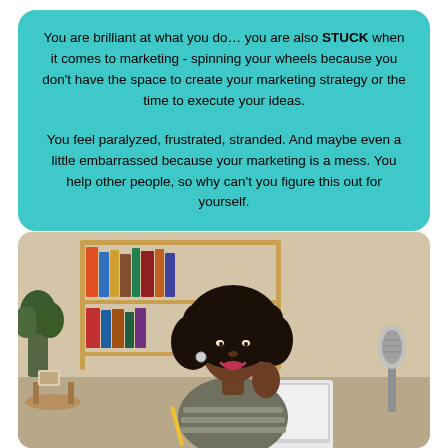You are brilliant at what you do... you are also STUCK when it comes to marketing - spinning your wheels because you don't have the space to create your marketing strategy or the time to execute your ideas.

You feel paralyzed, frustrated, stranded. And maybe even a little embarrassed because your marketing is a mess. You help other people, so why can't you figure this out for yourself.
[Figure (photo): A smiling Black woman with curly hair, wearing a grey striped sweater, sitting at a desk with a laptop, with a bookshelf and microphone in the background.]